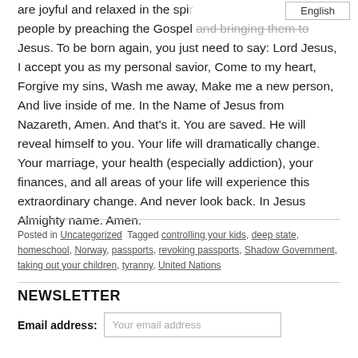are joyful and relaxed in the spirit people by preaching the Gospel and bringing them to Jesus. To be born again, you just need to say: Lord Jesus, I accept you as my personal savior, Come to my heart, Forgive my sins, Wash me away, Make me a new person, And live inside of me. In the Name of Jesus from Nazareth, Amen. And that's it. You are saved. He will reveal himself to you. Your life will dramatically change. Your marriage, your health (especially addiction), your finances, and all areas of your life will experience this extraordinary change. And never look back. In Jesus Almighty name. Amen.
Posted in Uncategorized  Tagged controlling your kids, deep state, homeschool, Norway, passports, revoking passports, Shadow Government, taking out your children, tyranny, United Nations
NEWSLETTER
Email address: Your email address